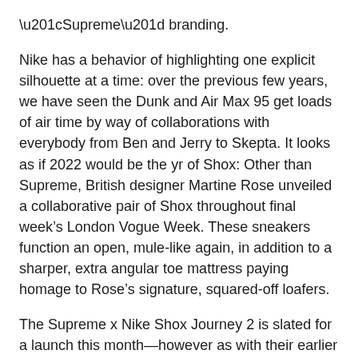“Supreme” branding.
Nike has a behavior of highlighting one explicit silhouette at a time: over the previous few years, we have seen the Dunk and Air Max 95 get loads of air time by way of collaborations with everybody from Ben and Jerry to Skepta. It looks as if 2022 would be the yr of Shox: Other than Supreme, British designer Martine Rose unveiled a collaborative pair of Shox throughout final week’s London Vogue Week. These sneakers function an open, mule-like again, in addition to a sharper, extra angular toe mattress paying homage to Rose’s signature, squared-off loafers.
The Supreme x Nike Shox Journey 2 is slated for a launch this month—however as with their earlier collaborative kicks, do not anticipate them to stay round for lengthy.